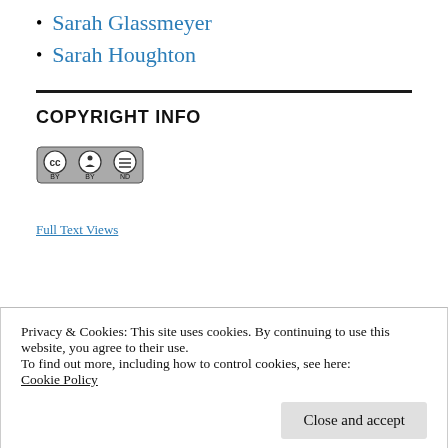Sarah Glassmeyer
Sarah Houghton
COPYRIGHT INFO
[Figure (logo): Creative Commons CC BY-ND license badge showing CC, BY, and ND icons in a rounded rectangle]
Privacy & Cookies: This site uses cookies. By continuing to use this website, you agree to their use. To find out more, including how to control cookies, see here: Cookie Policy
Close and accept